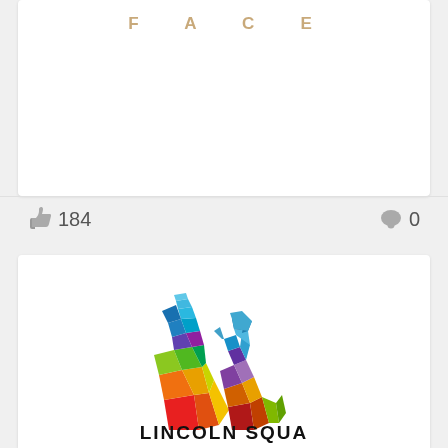F A C E
👍 184
💬 0
[Figure (logo): Colorful geometric low-poly style dog and cat silhouettes side by side, made up of rainbow colored triangular facets in red, orange, yellow, green, blue, purple colors. Below the animals is text reading LINCOLN SQUARE.]